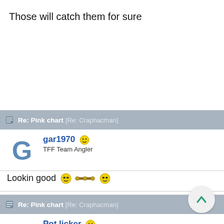Those will catch them for sure
Re: Pink chart [Re: Craphacman]
gar1970 😊
TFF Team Angler
Lookin good 😎🎣😎
Re: Pink chart [Re: Craphacman]
Pot licker 🙂
TFF Celebrity